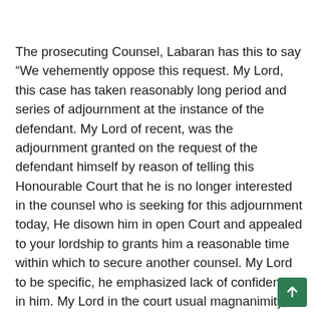The prosecuting Counsel, Labaran has this to say “We vehemently oppose this request. My Lord, this case has taken reasonably long period and series of adjournment at the instance of the defendant. My Lord of recent, was the adjournment granted on the request of the defendant himself by reason of telling this Honourable Court that he is no longer interested in the counsel who is seeking for this adjournment today, He disown him in open Court and appealed to your lordship to grants him a reasonable time within which to secure another counsel. My Lord to be specific, he emphasized lack of confidence in him. My Lord in the court usual magnanimity, another adjournment was granted for upward of three month. It was just last week that the case resumed with another